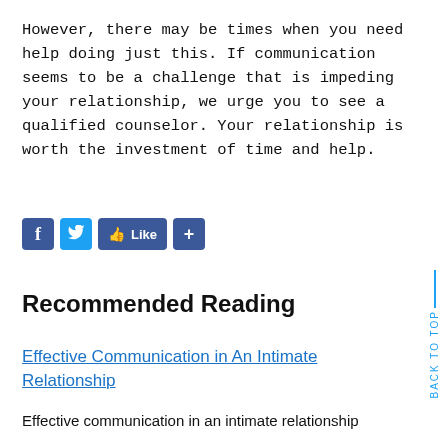However, there may be times when you need help doing just this. If communication seems to be a challenge that is impeding your relationship, we urge you to see a qualified counselor. Your relationship is worth the investment of time and help.
[Figure (infographic): Social sharing buttons: Facebook, Twitter, Like, and share plus button]
Recommended Reading
Effective Communication in An Intimate Relationship
Effective communication in an intimate relationship